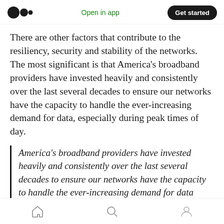Open in app | Get started
There are other factors that contribute to the resiliency, security and stability of the networks. The most significant is that America's broadband providers have invested heavily and consistently over the last several decades to ensure our networks have the capacity to handle the ever-increasing demand for data, especially during peak times of day.
America's broadband providers have invested heavily and consistently over the last several decades to ensure our networks have the capacity to handle the ever-increasing demand for data
Home | Search | Profile